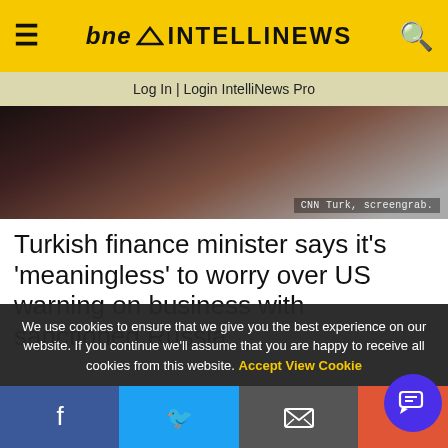bne INTELLINEWS
Log In | Login IntelliNews Pro
[Figure (photo): Screengrab from CNN Turk showing a person in a dark suit with hands clasped, with watermark 'CNN Turk, screengrab.']
Turkish finance minister says it's 'meaningless' to worry over US warning on business with sanctioned Russia
We use cookies to ensure that we give you the best experience on our website. If you continue we'll assume that you are happy to receive all cookies from this website. Accept  View Cookie
Facebook  Twitter  Email  Share